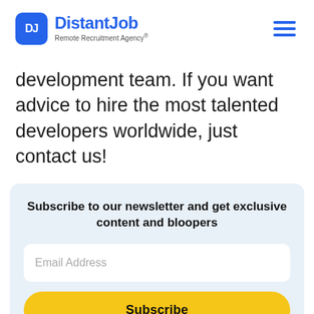DistantJob Remote Recruitment Agency®
development team. If you want advice to hire the most talented developers worldwide, just contact us!
Subscribe to our newsletter and get exclusive content and bloopers
Email Address
Subscribe